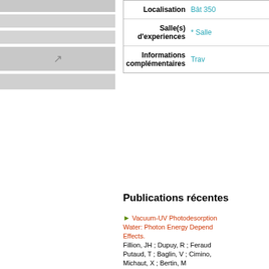[Figure (screenshot): Left panel with grey navigation bars and an icon button]
| Localisation | Bât 350... |
| Salle(s) d'experiences | * Salle... |
| Informations complémentaires | Trav... |
Publications récentes
Vacuum-UV Photodesorption... Water: Photon Energy Depend... Effects. Fillion, JH ; Dupuy, R ; Feraud... Putaud, T ; Baglin, V ; Cimino, ... Michaut, X ; Bertin, M ACS EARTH AND SPACE CH...
The reactivity of methanimin... isomer aminomethylene (HCN... Richardson, V.; Alcaraz, C.; Ge... C.; Sundelin, D.; Thissen, R.; ... Chem. Phys. Lett. 775:138611...
The reactivity of methanimin... isomer aminomethylene (HCN...